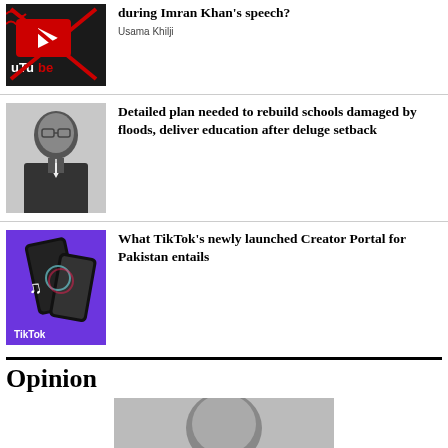[Figure (photo): YouTube logo with a red prohibition/crossed-out symbol overlay on a dark background]
during Imran Khan's speech?
Usama Khilji
[Figure (photo): Black and white portrait photo of a man in a suit]
Detailed plan needed to rebuild schools damaged by floods, deliver education after deluge setback
[Figure (photo): TikTok logo on a smartphone on a purple background]
What TikTok’s newly launched Creator Portal for Pakistan entails
Opinion
[Figure (photo): Black and white portrait photo of a person, partially visible]